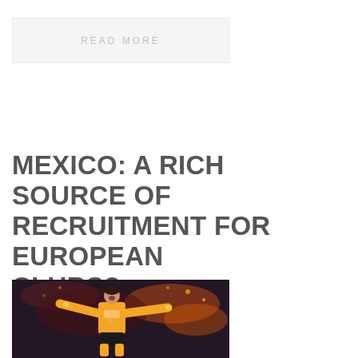READ MORE
MEXICO: A RICH SOURCE OF RECRUITMENT FOR EUROPEAN CLUBS?
[Figure (photo): Soccer player in orange/yellow jersey celebrating, crowd in background]